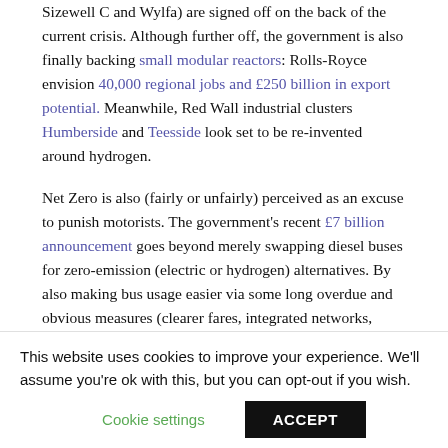Sizewell C and Wylfa) are signed off on the back of the current crisis. Although further off, the government is also finally backing small modular reactors: Rolls-Royce envision 40,000 regional jobs and £250 billion in export potential. Meanwhile, Red Wall industrial clusters Humberside and Teesside look set to be re-invented around hydrogen.
Net Zero is also (fairly or unfairly) perceived as an excuse to punish motorists. The government's recent £7 billion announcement goes beyond merely swapping diesel buses for zero-emission (electric or hydrogen) alternatives. By also making bus usage easier via some long overdue and obvious measures (clearer fares, integrated networks, infrastructure upgrades) motorists
This website uses cookies to improve your experience. We'll assume you're ok with this, but you can opt-out if you wish.
Cookie settings | ACCEPT